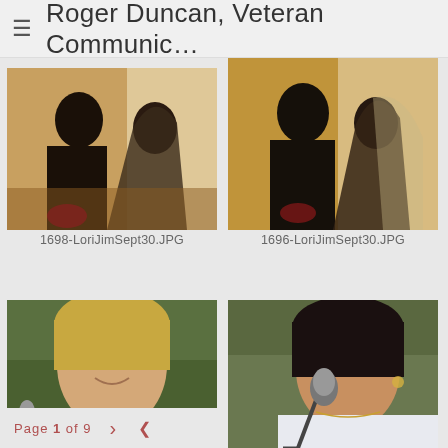≡  Roger Duncan, Veteran Communic…
[Figure (photo): Silhouette of a man and bride facing each other indoors, warm golden light, wedding ceremony setting]
1698-LoriJimSept30.JPG
[Figure (photo): Silhouette of a man kissing a bride on the cheek indoors, warm golden light, wedding ceremony setting]
1696-LoriJimSept30.JPG
[Figure (photo): Close-up of a smiling blonde woman outdoors with a microphone, green background]
[Figure (photo): Close-up of an Asian woman speaking or singing into a microphone outdoors]
Page 1 of 9  >  <